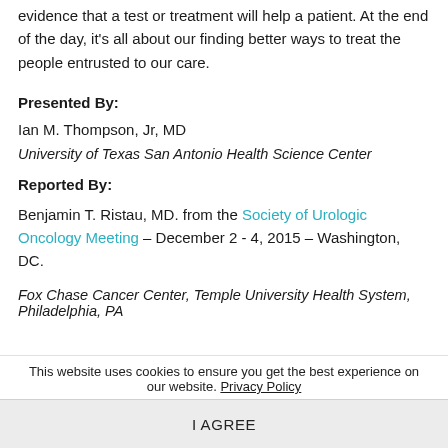evidence that a test or treatment will help a patient. At the end of the day, it's all about our finding better ways to treat the people entrusted to our care.
Presented By:
Ian M. Thompson, Jr, MD
University of Texas San Antonio Health Science Center
Reported By:
Benjamin T. Ristau, MD. from the Society of Urologic Oncology Meeting – December 2 - 4, 2015 – Washington, DC.
Fox Chase Cancer Center, Temple University Health System, Philadelphia, PA
This website uses cookies to ensure you get the best experience on our website. Privacy Policy
I AGREE